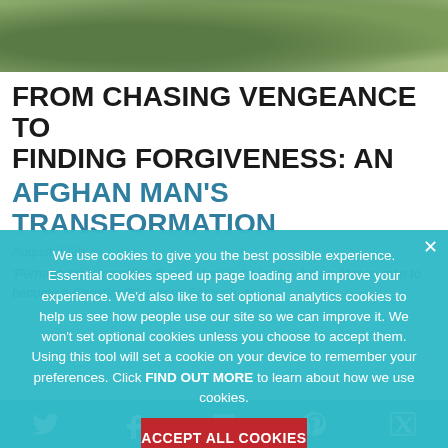[Figure (photo): Landscape photo strip showing a person and arid/green terrain in Afghanistan]
FROM CHASING VENGEANCE TO FINDING FORGIVENESS: AN AFGHAN MAN'S TRANSFORMATION
August 2020
Perhaps many people will ask, 'How is it possible for an Afghan man to become a Christian?' queries Soroush, an
We use cookies to give you the best possible experience. Essential cookies speed up page loading and improve your experience. We'd also like to set optional analytics cookies to help us see how people use our site so we can improve it. We won't set optional cookies unless you choose to accept them. Using this tool will set a cookie on your device to remember your preferences. Click FIND OUT MORE to learn about how we use cookies.
ACCEPT ALL COOKIES
BLOCK NON-ESSENTIAL COOKIES
FIND OUT MORE